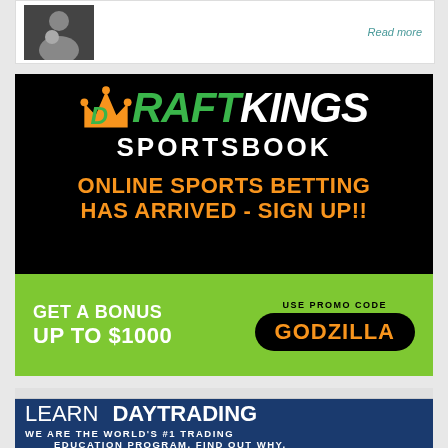[Figure (other): Top article card with a person image on the left and a 'Read more' link on the right]
Read more
[Figure (other): DraftKings Sportsbook advertisement. Black background with orange crown logo. Text reads: DRAFT (green) KINGS (white) SPORTSBOOK. ONLINE SPORTS BETTING HAS ARRIVED - SIGN UP!! Green bottom bar: GET A BONUS UP TO $1000. Use promo code: GODZILLA]
[Figure (other): Learn DayTrading advertisement. Dark blue background. Text reads: LEARN DAYTRADING. WE ARE THE WORLD'S #1 TRADING EDUCATION PROGRAM. FIND OUT WHY.]